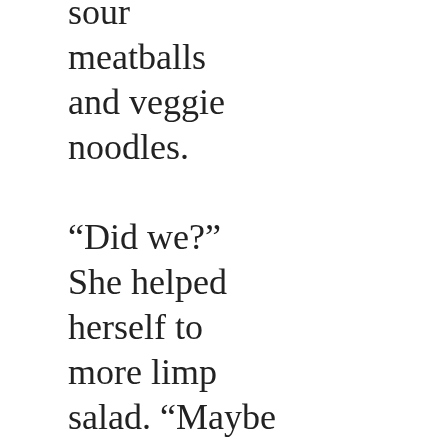sour meatballs and veggie noodles. “Did we?” She helped herself to more limp salad. “Maybe this is Groundhog Day and you’re doomed to repeat the